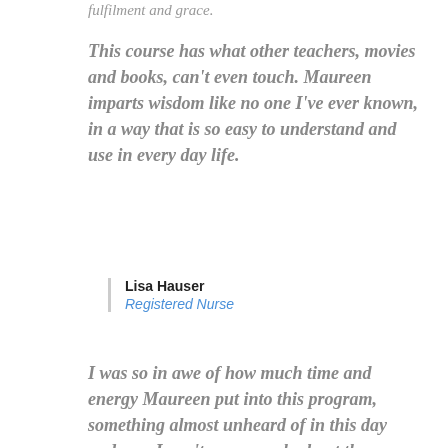fulfilment and grace.
This course has what other teachers, movies and books, can't even touch. Maureen imparts wisdom like no one I've ever known, in a way that is so easy to understand and use in every day life.
Lisa Hauser
Registered Nurse
I was so in awe of how much time and energy Maureen put into this program, something almost unheard of in this day and age. I can't say enough about the course content.